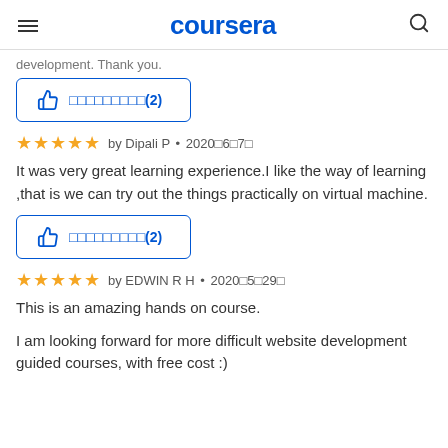coursera
development. Thank you.
[Figure (other): Helpful button with thumbs up icon and text showing (2) helpful votes, blue outlined button]
by Dipali P • 2020年6月7日
It was very great learning experience.I like the way of learning ,that is we can try out the things practically on virtual machine.
[Figure (other): Helpful button with thumbs up icon and text showing (2) helpful votes, blue outlined button]
by EDWIN R H • 2020年5月29日
This is an amazing hands on course.

I am looking forward for more difficult website development guided courses, with free cost :)